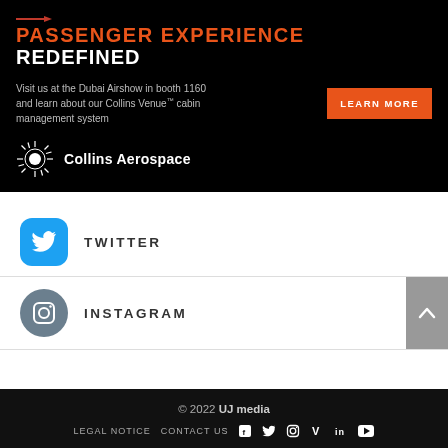[Figure (infographic): Collins Aerospace advertisement banner on black background. Orange text reads PASSENGER EXPERIENCE, white text REDEFINED. Body text: Visit us at the Dubai Airshow in booth 1160 and learn about our Collins Venue cabin management system. Orange LEARN MORE button. Collins Aerospace logo at bottom.]
TWITTER
INSTAGRAM
© 2022 UJ media
LEGAL NOTICE   CONTACT US   [social icons: f, twitter, instagram, V, in, youtube]